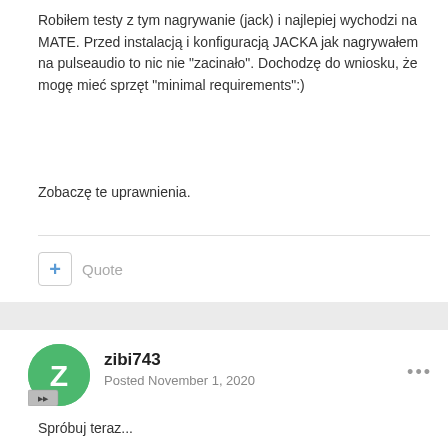Robiłem testy z tym nagrywanie (jack) i najlepiej wychodzi na MATE. Przed instalacją i konfiguracją JACKA jak nagrywałem na pulseaudio to nic nie "zacinało". Dochodzę do wniosku, że mogę mieć sprzęt "minimal requirements":)
Zobaczę te uprawnienia.
+ Quote
zibi743
Posted November 1, 2020
Spróbuj teraz...
[Figure (illustration): Paperclip attachment icon]
mp3_jack_64kbps.mp3
Fetching info...